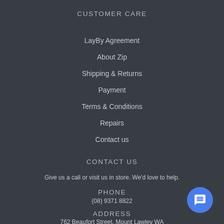CUSTOMER CARE
LayBy Agreement
About Zip
Shipping & Returns
Payment
Terms & Conditions
Repairs
Contact us
CONTACT US
Give us a call or visit us in store. We'd love to help.
PHONE
(08) 9371 8822
ADDRESS
762 Beaufort Street, Mount Lawley WA